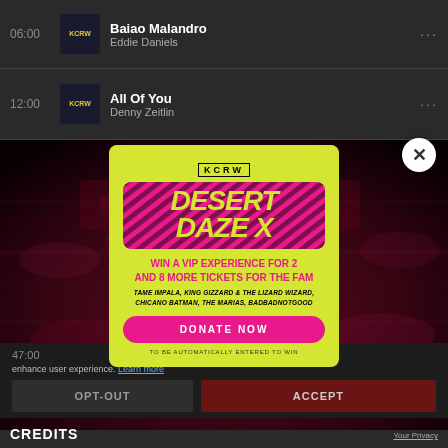06:00 — Baiao Malandro / Eddie Daniels
12:00 — All Of You / Denny Zeitlin
[Figure (screenshot): KCRW Desert Daze X festival popup advertisement on a music playlist page. Yellow modal with pink festival logo reads 'DESERT DAZE X'. Text: 'WIN A VIP EXPERIENCE FOR 2 AND 8 MORE TICKETS FOR THE FAM'. Artists listed: TAME IMPALA, KING GIZZARD & THE LIZARD WIZARD, CHICANO BATMAN, THE MARIAS, BADBADNOTGOOD. Pink DONATE NOW button. 'TO BE AUTOMATICALLY ENTERED TO WIN'. White close button top right. Background shows pink-tinted concert crowd image. Below: cookie consent bar with OPT-OUT and ACCEPT buttons, CREDITS footer.]